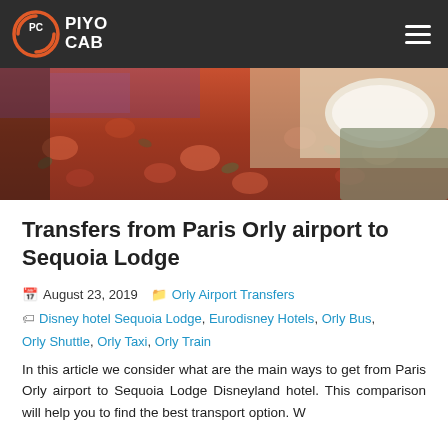PIYO CAB
[Figure (photo): Hotel room with patterned carpet and bed with white pillow and green bedding]
Transfers from Paris Orly airport to Sequoia Lodge
August 23, 2019  Orly Airport Transfers  Disney hotel Sequoia Lodge, Eurodisney Hotels, Orly Bus, Orly Shuttle, Orly Taxi, Orly Train
In this article we consider what are the main ways to get from Paris Orly airport to Sequoia Lodge Disneyland hotel. This comparison will help you to find the best...